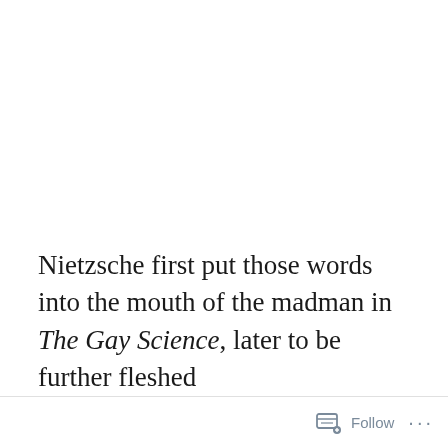Nietzsche first put those words into the mouth of the madman in The Gay Science, later to be further fleshed
Follow ···